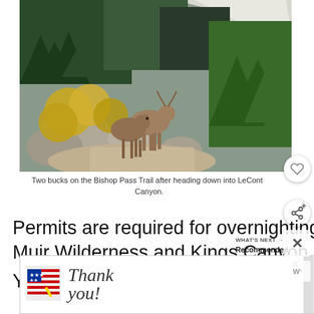[Figure (photo): Two deer (bucks) standing on a rocky mountain trail (Bishop Pass Trail) with yellow and green foliage and snow-capped peaks in the background.]
Two bucks on the Bishop Pass Trail after heading down into LeConte Canyon.
Permits are required for overnighting in the John Muir Wilderness and Kings Canyon Na[tional Park].
You can check availability and book online at
WHAT'S NEXT → Recommended Reading
[Figure (photo): Advertisement banner: Thank You with American flag graphic on left, Operation Gratitude logo with firefighters on right.]